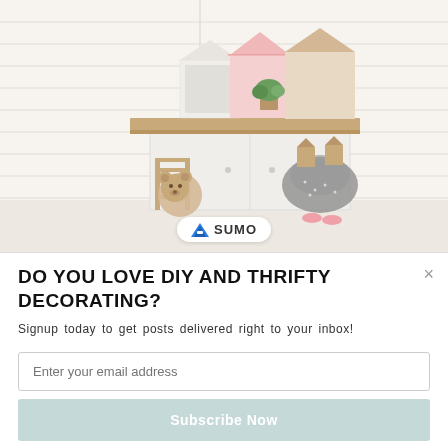[Figure (photo): A styled child's room corner with white shiplap walls. On a wooden shelf are three house-shaped wooden decorations (white, pink, and tan/beige), a small potted succulent plant. Below the shelf hangs a gray tutu skirt on wooden house-shaped hooks. In the corner sits a small wooden chair with a stuffed teddy bear. A SUMO badge/watermark appears at the bottom center of the image.]
DO YOU LOVE DIY AND THRIFTY DECORATING?
Signup today to get posts delivered right to your inbox!
Enter your email address
Subscribe Now